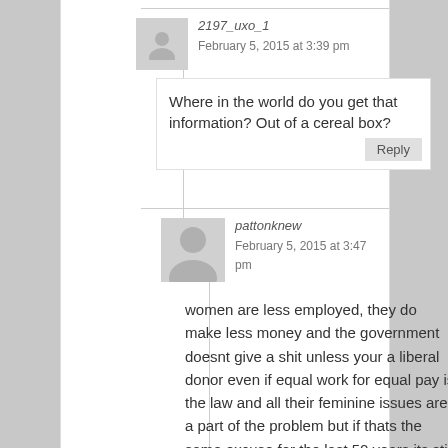2197_uxo_1
February 5, 2015 at 3:39 pm
Where in the world do you get that information? Out of a cereal box?
pattonknew
February 5, 2015 at 3:47 pm
women are less employed, they do make less money and the government doesnt give a shit unless your a liberal donor even if equal work for equal pay is the law and all their feminine issues are a part of the problem but if thats the same excuse for the last 50 years its still the